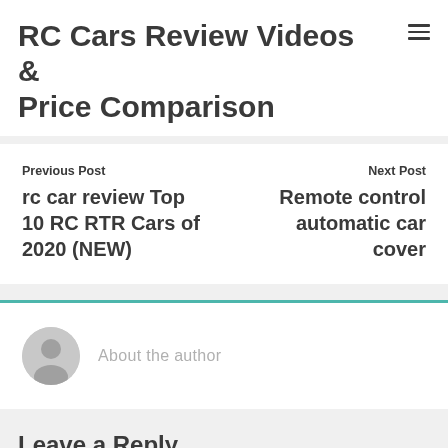RC Cars Review Videos & Price Comparison
Previous Post
rc car review Top 10 RC RTR Cars of 2020 (NEW)
Next Post
Remote control automatic car cover
[Figure (illustration): Generic user avatar icon, circle with person silhouette in gray]
About the author
Leave a Reply